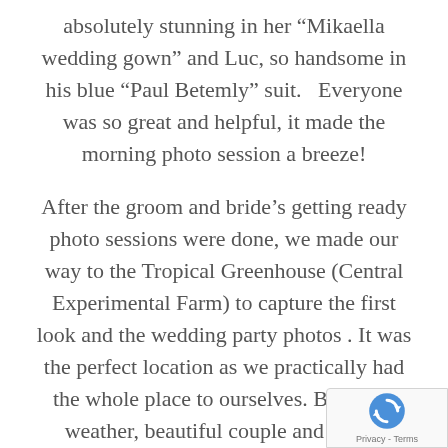absolutely stunning in her “Mikaella wedding gown” and Luc, so handsome in his blue “Paul Betemly” suit.   Everyone was so great and helpful, it made the morning photo session a breeze!
After the groom and bride’s getting ready photo sessions were done, we made our way to the Tropical Greenhouse (Central Experimental Farm) to capture the first look and the wedding party photos . It was the perfect location as we practically had the whole place to ourselves. Beautiful weather, beautiful couple and beauti[ful] everything!!! It was a fantastic adventu[re]
[Figure (logo): reCAPTCHA badge with spinning arrows icon and Privacy - Terms text]